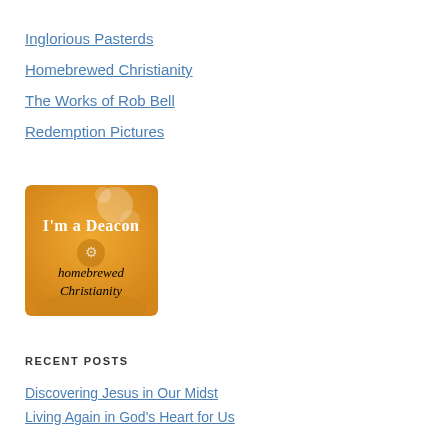Inglorious Pasterds
Homebrewed Christianity
The Works of Rob Bell
Redemption Pictures
[Figure (illustration): Orange badge/button image with text 'I'm a Deacon homebrewed Christianity' on an orange background with decorative elements]
RECENT POSTS
Discovering Jesus in Our Midst
Living Again in God's Heart for Us